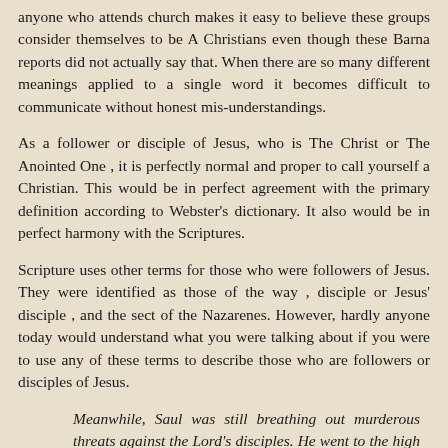anyone who attends church makes it easy to believe these groups consider themselves to be A Christians even though these Barna reports did not actually say that. When there are so many different meanings applied to a single word it becomes difficult to communicate without honest mis-understandings.
As a follower or disciple of Jesus, who is The Christ or The Anointed One , it is perfectly normal and proper to call yourself a Christian. This would be in perfect agreement with the primary definition according to Webster's dictionary. It also would be in perfect harmony with the Scriptures.
Scripture uses other terms for those who were followers of Jesus. They were identified as those of the way , disciple or Jesus' disciple , and the sect of the Nazarenes. However, hardly anyone today would understand what you were talking about if you were to use any of these terms to describe those who are followers or disciples of Jesus.
Meanwhile, Saul was still breathing out murderous threats against the Lord's disciples. He went to the high priest and asked him for letters to the synagogues in Damascus, so that if he found any there who belonged to the Way, whether men or women, he might take them as prisoners to Jerusalem. (Acts 9:1-2)